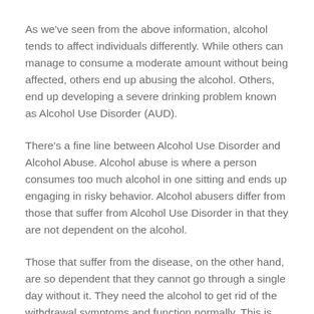As we've seen from the above information, alcohol tends to affect individuals differently. While others can manage to consume a moderate amount without being affected, others end up abusing the alcohol. Others, end up developing a severe drinking problem known as Alcohol Use Disorder (AUD).
There's a fine line between Alcohol Use Disorder and Alcohol Abuse. Alcohol abuse is where a person consumes too much alcohol in one sitting and ends up engaging in risky behavior. Alcohol abusers differ from those that suffer from Alcohol Use Disorder in that they are not dependent on the alcohol.
Those that suffer from the disease, on the other hand, are so dependent that they cannot go through a single day without it. They need the alcohol to get rid of the withdrawal symptoms and function normally. This is condition needs to be treated immediately.